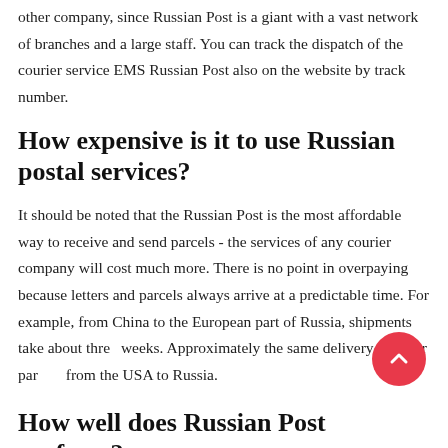other company, since Russian Post is a giant with a vast network of branches and a large staff. You can track the dispatch of the courier service EMS Russian Post also on the website by track number.
How expensive is it to use Russian postal services?
It should be noted that the Russian Post is the most affordable way to receive and send parcels - the services of any courier company will cost much more. There is no point in overpaying because letters and parcels always arrive at a predictable time. For example, from China to the European part of Russia, shipments take about three weeks. Approximately the same delivery time for parcels from the USA to Russia.
How well does Russian Post perform?